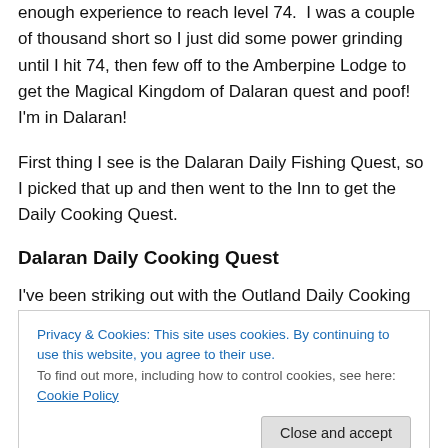enough experience to reach level 74.  I was a couple of thousand short so I just did some power grinding until I hit 74, then few off to the Amberpine Lodge to get the Magical Kingdom of Dalaran quest and poof!  I'm in Dalaran!
First thing I see is the Dalaran Daily Fishing Quest, so I picked that up and then went to the Inn to get the Daily Cooking Quest.
Dalaran Daily Cooking Quest
I've been striking out with the Outland Daily Cooking
Privacy & Cookies: This site uses cookies. By continuing to use this website, you agree to their use.
To find out more, including how to control cookies, see here: Cookie Policy
no recipe reward – two bags of Northern Spices and two